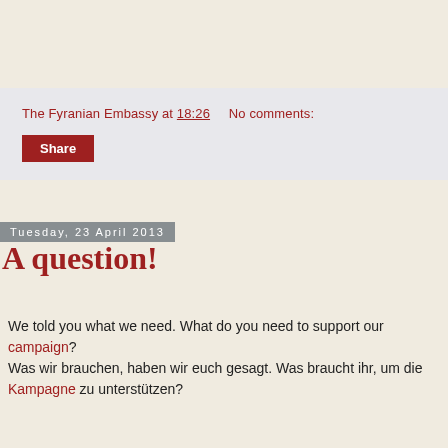The Fyranian Embassy at 18:26    No comments:
Share
Tuesday, 23 April 2013
A question!
We told you what we need. What do you need to support our campaign?
Was wir brauchen, haben wir euch gesagt. Was braucht ihr, um die Kampagne zu unterstützen?